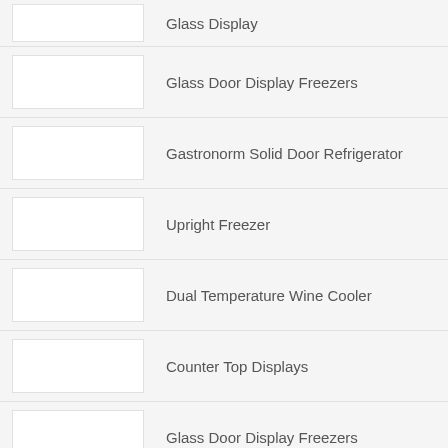Glass Display
Glass Door Display Freezers
Gastronorm Solid Door Refrigerator
Upright Freezer
Dual Temperature Wine Cooler
Counter Top Displays
Glass Door Display Freezers